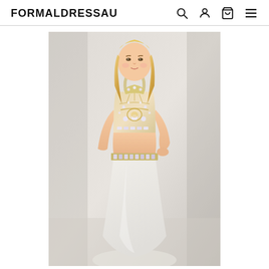FORMALDRESSAU
[Figure (photo): A young blonde woman wearing a two-piece formal prom dress. The top is a bejeweled halter-neck crop top with gold and crystal embellishments. The bottom is a plain white floor-length mermaid skirt. The background is a light cream/white studio setting.]